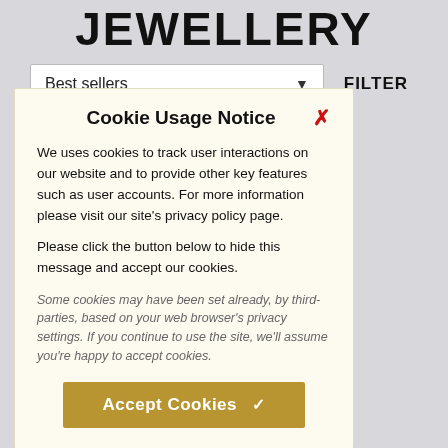JEWELLERY
Best sellers  ▼
FILTER
Cookie Usage Notice
We uses cookies to track user interactions on our website and to provide other key features such as user accounts. For more information please visit our site's privacy policy page.

Please click the button below to hide this message and accept our cookies.
Some cookies may have been set already, by third-parties, based on your web browser's privacy settings. If you continue to use the site, we'll assume you're happy to accept cookies.
Accept Cookies  ✓